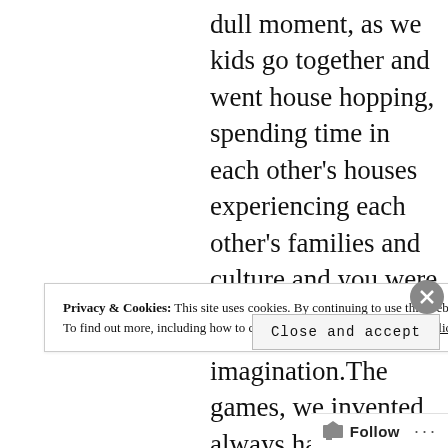dull moment, as we kids go together and went house hopping, spending time in each other's houses experiencing each other's families and culture and you were always there.
You were the spark that ignited our imagination.The games, we invented always had you in them. I remember  the airplane game, where one of us, picked by the
Privacy & Cookies: This site uses cookies. By continuing to use this website, you agree to their use.
To find out more, including how to control cookies, see here: Cookie Policy
Close and accept
Follow ...